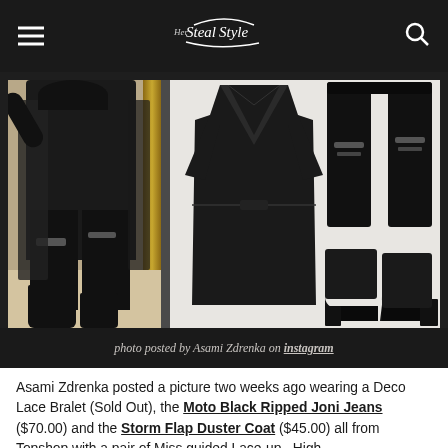Steal Her Style
[Figure (photo): Fashion photo collage: left side shows a person in all-black outfit with ripped jeans, long duster coat, and ankle boots photographed in a mirror. Right side shows product images: a long black duster coat, black ripped leggings, and black block-heel ankle booties on white background.]
photo posted by Asami Zdrenka on instagram
Asami Zdrenka posted a picture two weeks ago wearing a Deco Lace Bralet (Sold Out), the Moto Black Ripped Joni Jeans ($70.00) and the Storm Flap Duster Coat ($45.00) all from Topshop with a pair of Miss guided Lace-up…High